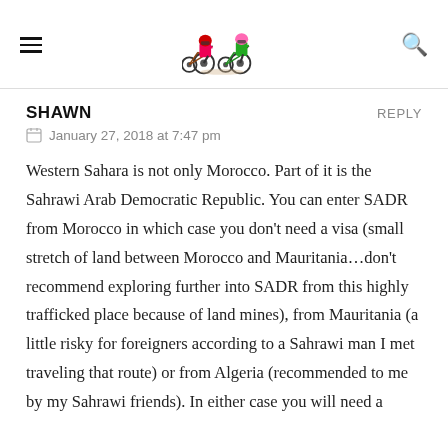[Navigation header with hamburger menu, logo illustration of two dirt bike riders, and search icon]
SHAWN
January 27, 2018 at 7:47 pm
Western Sahara is not only Morocco. Part of it is the Sahrawi Arab Democratic Republic. You can enter SADR from Morocco in which case you don't need a visa (small stretch of land between Morocco and Mauritania…don't recommend exploring further into SADR from this highly trafficked place because of land mines), from Mauritania (a little risky for foreigners according to a Sahrawi man I met traveling that route) or from Algeria (recommended to me by my Sahrawi friends). In either case you will need a